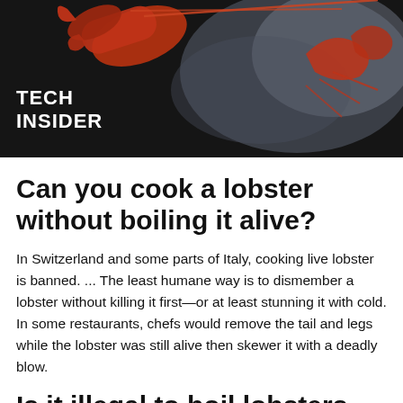[Figure (photo): Dark background photo of a red lobster with claws raised and steam/smoke effect, with 'TECH INSIDER' text overlay in white bold uppercase letters]
Can you cook a lobster without boiling it alive?
In Switzerland and some parts of Italy, cooking live lobster is banned. ... The least humane way is to dismember a lobster without killing it first—or at least stunning it with cold. In some restaurants, chefs would remove the tail and legs while the lobster was still alive then skewer it with a deadly blow.
Is it illegal to boil lobsters